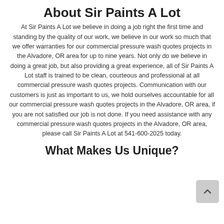About Sir Paints A Lot
At Sir Paints A Lot we believe in doing a job right the first time and standing by the quality of our work, we believe in our work so much that we offer warranties for our commercial pressure wash quotes projects in the Alvadore, OR area for up to nine years. Not only do we believe in doing a great job, but also providing a great experience, all of Sir Paints A Lot staff is trained to be clean, courteous and professional at all commercial pressure wash quotes projects. Communication with our customers is just as important to us, we hold ourselves accountable for all our commercial pressure wash quotes projects in the Alvadore, OR area, if you are not satisfied our job is not done. If you need assistance with any commercial pressure wash quotes projects in the Alvadore, OR area, please call Sir Paints A Lot at 541-600-2025 today.
What Makes Us Unique?